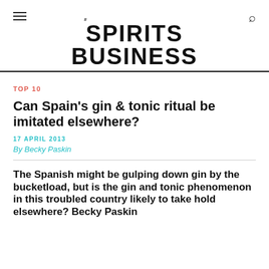THE SPIRITS BUSINESS
TOP 10
Can Spain's gin & tonic ritual be imitated elsewhere?
17 APRIL 2013
By Becky Paskin
The Spanish might be gulping down gin by the bucketload, but is the gin and tonic phenomenon in this troubled country likely to take hold elsewhere? Becky Paskin